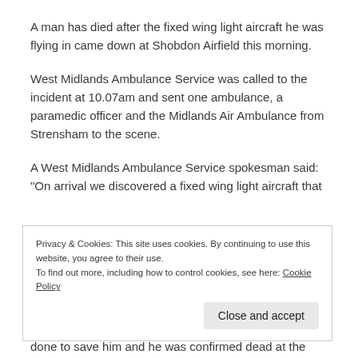A man has died after the fixed wing light aircraft he was flying in came down at Shobdon Airfield this morning.
West Midlands Ambulance Service was called to the incident at 10.07am and sent one ambulance, a paramedic officer and the Midlands Air Ambulance from Strensham to the scene.
A West Midlands Ambulance Service spokesman said: "On arrival we discovered a fixed wing light aircraft that
Privacy & Cookies: This site uses cookies. By continuing to use this website, you agree to their use.
To find out more, including how to control cookies, see here: Cookie Policy
done to save him and he was confirmed dead at the